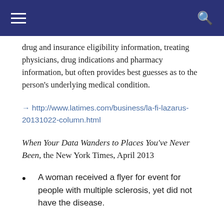drug and insurance eligibility information, treating physicians, drug indications and pharmacy information, but often provides best guesses as to the person's underlying medical condition.
→ http://www.latimes.com/business/la-fi-lazarus-20131022-column.html
When Your Data Wanders to Places You've Never Been, the New York Times, April 2013
A woman received a flyer for event for people with multiple sclerosis, yet did not have the disease.